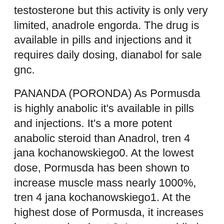testosterone but this activity is only very limited, anadrole engorda. The drug is available in pills and injections and it requires daily dosing, dianabol for sale gnc.
PANANDA (PORONDA) As Pormusda is highly anabolic it's available in pills and injections. It's a more potent anabolic steroid than Anadrol, tren 4 jana kochanowskiego0. At the lowest dose, Pormusda has been shown to increase muscle mass nearly 1000%, tren 4 jana kochanowskiego1. At the highest dose of Pormusda, it increases lean mass by about 2-4 grams, while in comparison with Anadrol it's only about 1.4 grams.
TRIMINOL (TIMOL) Triminol is the same active ingredient as Anadrol except it's metabolized into testosterone and is the...